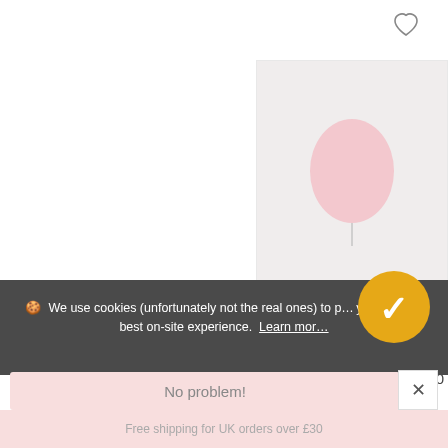[Figure (other): Heart/wishlist icon outline at top right of product card]
[Figure (photo): Product image placeholder for Pink Sparkly Balloon Birthday Card, light pink/beige background]
Pink Sparkly Balloon Birthday Card
$4.00
🍪 We use cookies (unfortunately not the real ones) to provide you with the best on-site experience. Learn more
[Figure (logo): Voucherify yellow circular badge with white V letter]
No problem!
Free shipping for UK orders over £30